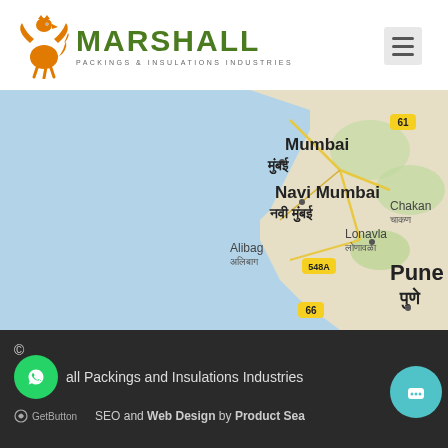[Figure (logo): Marshall Packings & Insulations Industries logo with orange griffin and green bold text]
[Figure (map): Google Maps view showing Mumbai, Navi Mumbai, Alibag, Lonavla, Pune area with text labels in English and Marathi]
© Marshall Packings and Insulations Industries
SEO and Web Design by Product Sea...
[Figure (other): WhatsApp green circle button icon]
[Figure (other): Teal chat bubble circle button]